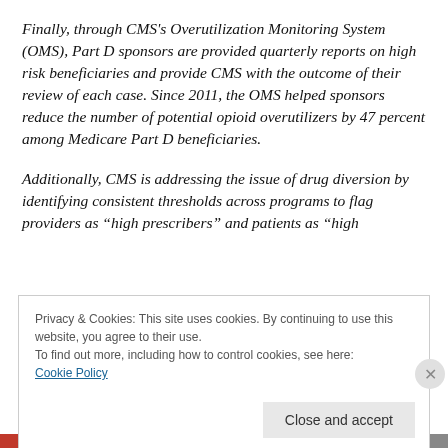Finally, through CMS's Overutilization Monitoring System (OMS), Part D sponsors are provided quarterly reports on high risk beneficiaries and provide CMS with the outcome of their review of each case. Since 2011, the OMS helped sponsors reduce the number of potential opioid overutilizers by 47 percent among Medicare Part D beneficiaries.
Additionally, CMS is addressing the issue of drug diversion by identifying consistent thresholds across programs to flag providers as “high prescribers” and patients as “high
Privacy & Cookies: This site uses cookies. By continuing to use this website, you agree to their use.
To find out more, including how to control cookies, see here: Cookie Policy